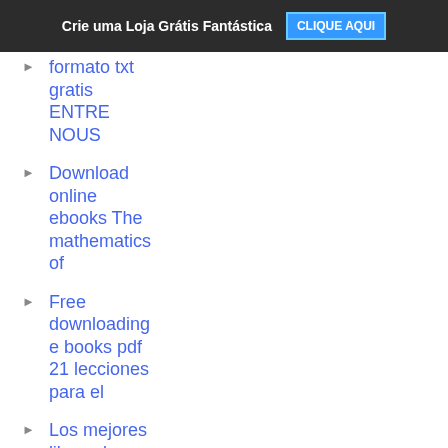Crie uma Loja Grátis Fantástica  CLIQUE AQUI
formato txt gratis ENTRE NOUS
Download online ebooks The mathematics of
Free downloading e books pdf 21 lecciones para el
Los mejores libros de descarga gratis. LA UNIDAD
Descargando libros gratis para mi